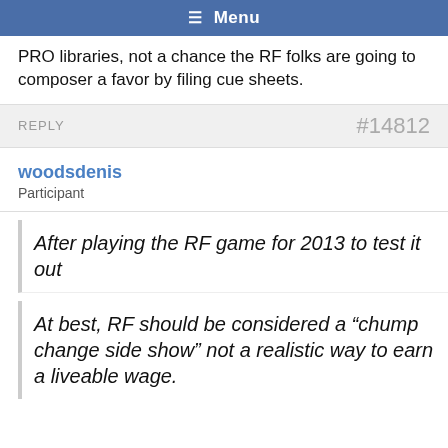Menu
PRO libraries, not a chance the RF folks are going to composer a favor by filing cue sheets.
REPLY  #14812
woodsdenis
Participant
After playing the RF game for 2013 to test it out
At best, RF should be considered a “chump change side show” not a realistic way to earn a liveable wage.